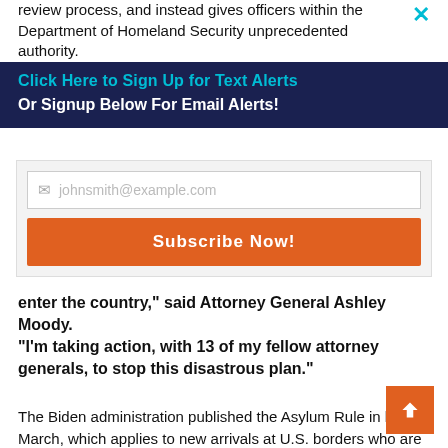review process, and instead gives officers within the Department of Homeland Security unprecedented authority.
Click Here to Sign Up for Text Alerts
Or Signup Below For Email Alerts!
johnsmith@example.com
Subscribe Now!
enter the country," said Attorney General Ashley Moody.
"I'm taking action, with 13 of my fellow attorney generals, to stop this disastrous plan."
The Biden administration published the Asylum Rule in late March, which applies to new arrivals at U.S. borders who are making asylum claims. Federal law requires that immigration judges within the Department of Justice make the final determinations for migrants' asylum claims.
However, under the new rule, that power would be largely transferred to DHS asylum officers, a violation of federal law.